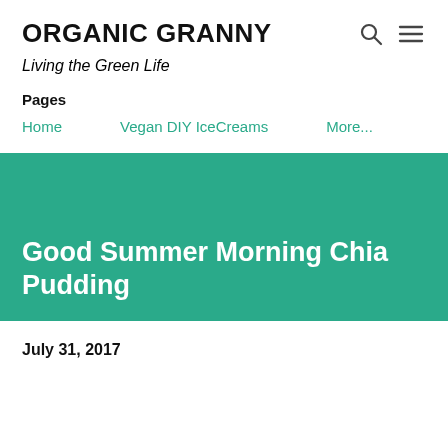ORGANIC GRANNY
Living the Green Life
Pages
Home
Vegan DIY IceCreams
More...
Good Summer Morning Chia Pudding
July 31, 2017